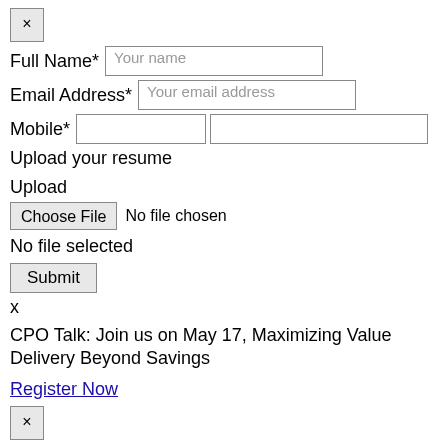×
Full Name* [Your name]
Email Address* [Your email address]
Mobile* [input fields]
Upload your resume
Upload
Choose File  No file chosen
No file selected
Submit
x
CPO Talk: Join us on May 17, Maximizing Value Delivery Beyond Savings
Register Now
×
Beroe is a global SaaS-based procurement intelligence and analytics provider. We deliver intelligence, data, and insights that enable companies to make smarter sourcing decisions, leading to